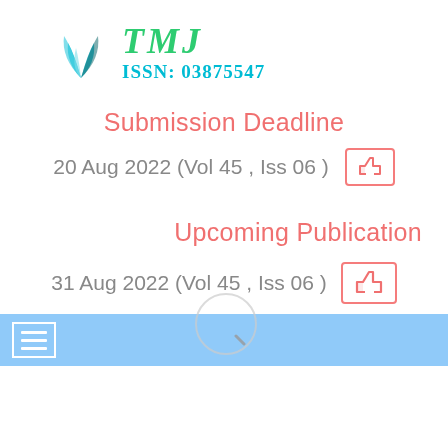[Figure (logo): TMJ journal logo with blue feather/leaf icon and green TMJ text with ISSN number]
TMJ ISSN: 03875547
Submission Deadline
20 Aug 2022 (Vol 45 , Iss 06 )
Upcoming Publication
31 Aug 2022 (Vol 45 , Iss 06 )
[Figure (infographic): Blue navigation bar with hamburger menu icon and loading/spinner circle icon]